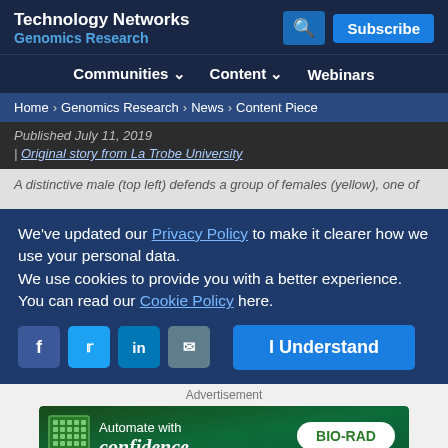Technology Networks Genomics Research
Communities Content Webinars
Home > Genomics Research > News > Content Piece
Published July 11, 2019
| Original story from La Trobe University
A distinctive male (top left) defends a group of females (yellow), one of
We've updated our Privacy Policy to make it clearer how we use your personal data.
We use cookies to provide you with a better experience. You can read our Cookie Policy here.
I Understand
Advertisement
[Figure (other): Bio-Rad advertisement banner: Automate with confidence. Bio-Rad logo on green background with microplate graphic.]